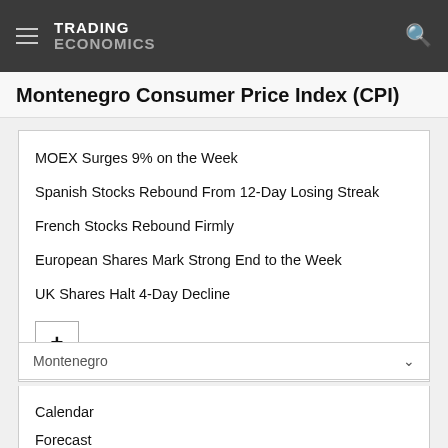TRADING ECONOMICS
Montenegro Consumer Price Index (CPI)
MOEX Surges 9% on the Week
Spanish Stocks Rebound From 12-Day Losing Streak
French Stocks Rebound Firmly
European Shares Mark Strong End to the Week
UK Shares Halt 4-Day Decline
Montenegro
Calendar
Forecast